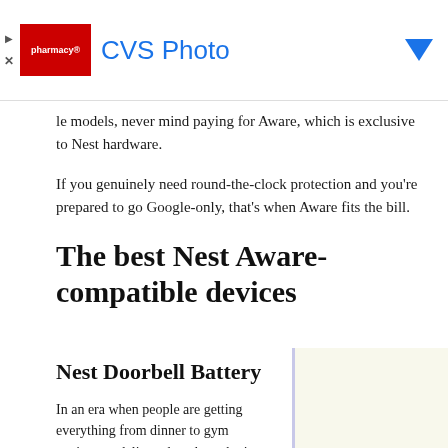[Figure (screenshot): CVS Photo advertisement banner with red logo box, 'CVS Photo' title in blue, and a blue arrow/chevron on the right. Left side has play and close icons.]
le models, never mind paying for Aware, which is exclusive to Nest hardware.
If you genuinely need round-the-clock protection and you're prepared to go Google-only, that's when Aware fits the bill.
The best Nest Aware-compatible devices
Nest Doorbell Battery
In an era when people are getting everything from dinner to gym equipment delivered, and porch pirates are a serious threat, it just makes sense to have a video doorbell. Beyond its Aware features, the Nest Doorbell Battery can be hardwired if you don't want to recharge it every few months, and record event footage for up to an hour after a power or Wi-Fi cut. Just know that it doesn't support continuous recording with Aware Plus, even with its wired setup.